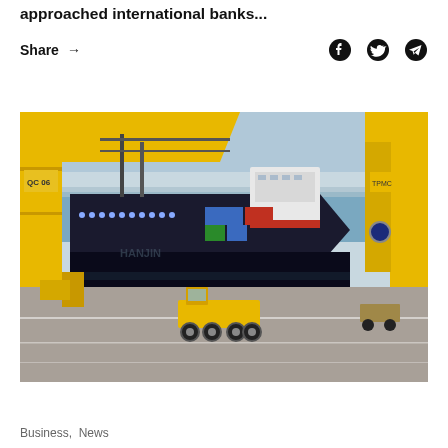approached international banks...
Share →
[Figure (photo): Container ship docked at a port with yellow cranes visible, a yellow port vehicle driving in the foreground on the tarmac]
Business,  News